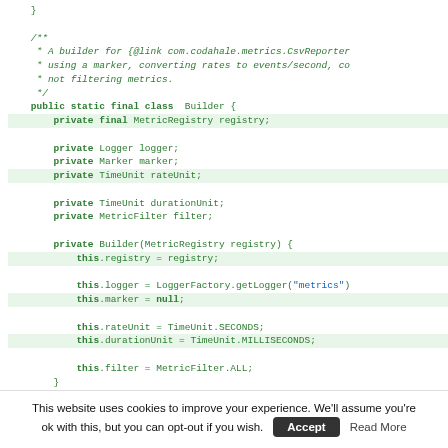Java source code snippet showing a Builder class with fields and constructor initialization
This website uses cookies to improve your experience. We'll assume you're ok with this, but you can opt-out if you wish. [Accept] [Read More]